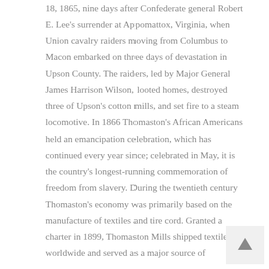18, 1865, nine days after Confederate general Robert E. Lee's surrender at Appomattox, Virginia, when Union cavalry raiders moving from Columbus to Macon embarked on three days of devastation in Upson County. The raiders, led by Major General James Harrison Wilson, looted homes, destroyed three of Upson's cotton mills, and set fire to a steam locomotive. In 1866 Thomaston's African Americans held an emancipation celebration, which has continued every year since; celebrated in May, it is the country's longest-running commemoration of freedom from slavery. During the twentieth century Thomaston's economy was primarily based on the manufacture of textiles and tire cord. Granted a charter in 1899, Thomaston Mills shipped textiles worldwide and served as a major source of